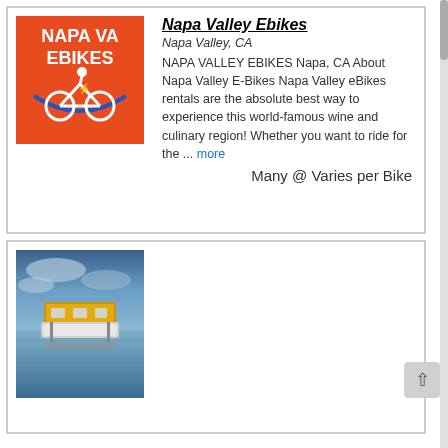[Figure (logo): Napa Valley Ebikes logo — red/orange background with white text 'NAPA VALLEY EBIKES' and blue bicycle graphic]
Napa Valley Ebikes
Napa Valley, CA
NAPA VALLEY EBIKES Napa, CA About Napa Valley E-Bikes Napa Valley eBikes rentals are the absolute best way to experience this world-famous wine and culinary region! Whether you want to ride for the ... more
Many @ Varies per Bike
[Figure (photo): Photo of a boat dock at dusk/dawn with a yellow-canopied pontoon boat on calm blue water]